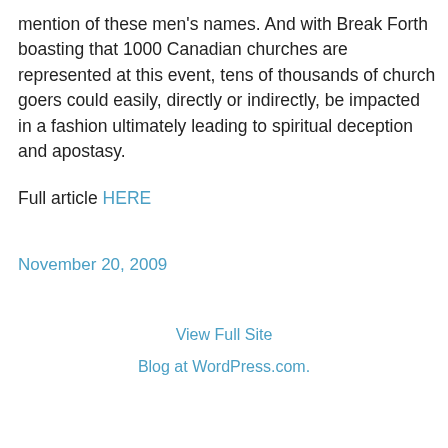mention of these men's names. And with Break Forth boasting that 1000 Canadian churches are represented at this event, tens of thousands of church goers could easily, directly or indirectly, be impacted in a fashion ultimately leading to spiritual deception and apostasy.
Full article HERE
November 20, 2009
View Full Site
Blog at WordPress.com.